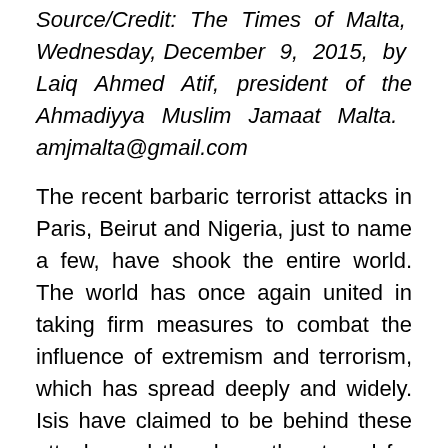Source/Credit: The Times of Malta, Wednesday, December 9, 2015, by Laiq Ahmed Atif, president of the Ahmadiyya Muslim Jamaat Malta. amjmalta@gmail.com
The recent barbaric terrorist attacks in Paris, Beirut and Nigeria, just to name a few, have shook the entire world. The world has once again united in taking firm measures to combat the influence of extremism and terrorism, which has spread deeply and widely. Isis have claimed to be behind these attacks and they have threatened for more similar attacks.
These attacks were condemned by world leaders, both political and religious.
The worldwide head of the Ahmadiyya Muslim Community called these attacks “brutal and inhumane” and “completely against the true teachings of Islam”. The